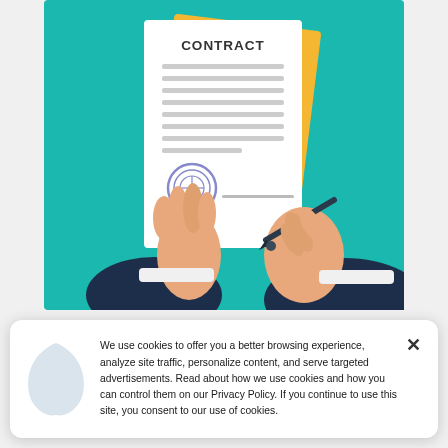[Figure (illustration): Illustration of two hands holding and signing a contract document on a teal background, with a yellow folder behind the white contract paper showing the word CONTRACT at the top and horizontal lines representing text, a circular stamp, and a pen signing.]
We use cookies to offer you a better browsing experience, analyze site traffic, personalize content, and serve targeted advertisements. Read about how we use cookies and how you can control them on our Privacy Policy. If you continue to use this site, you consent to our use of cookies.